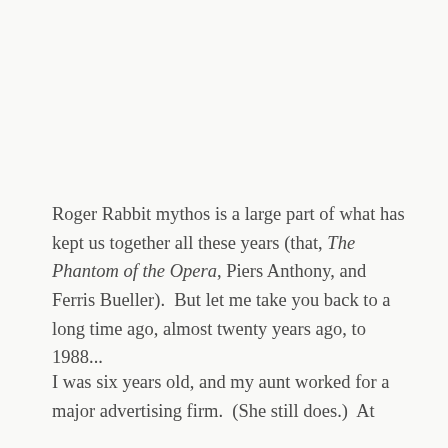Roger Rabbit mythos is a large part of what has kept us together all these years (that, The Phantom of the Opera, Piers Anthony, and Ferris Bueller).  But let me take you back to a long time ago, almost twenty years ago, to 1988...
I was six years old, and my aunt worked for a major advertising firm.  (She still does.)  At